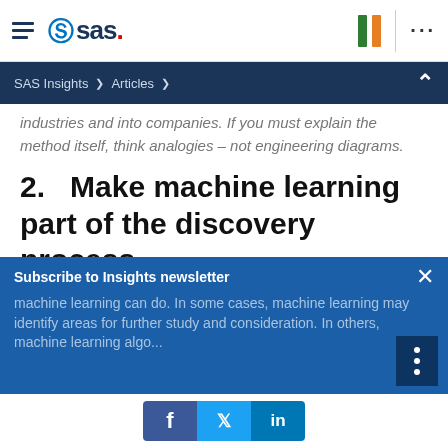SAS logo navigation bar with hamburger menu, SAS logo, flag bars (green and orange), dots menu
SAS Insights > Articles >
industries and into companies. If you must explain the method itself, think analogies – not engineering diagrams.
2.   Make machine learning part of the discovery process
When getting started with machine learning, it's important to understand what your needs are and what machine learning can do. In some cases, machine learning may identify areas for further study and consideration. In others, machine learning algorithms...
Subscribe to Insights newsletter